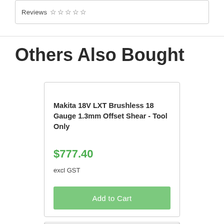Reviews ☆ ☆ ☆ ☆ ☆
Others Also Bought
Makita 18V LXT Brushless 18 Gauge 1.3mm Offset Shear - Tool Only
$777.40
excl GST
Add to Cart
Makita 18V LXT Concrete Vibrator